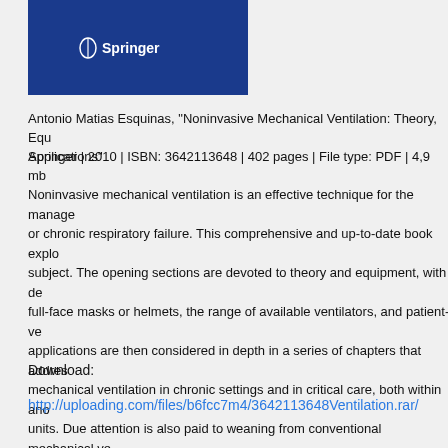[Figure (logo): Springer publisher logo on dark blue background]
Antonio Matias Esquinas, "Noninvasive Mechanical Ventilation: Theory, Equ Applications"
Springer | 2010 | ISBN: 3642113648 | 402 pages | File type: PDF | 4,9 mb
Noninvasive mechanical ventilation is an effective technique for the manage or chronic respiratory failure. This comprehensive and up-to-date book explo subject. The opening sections are devoted to theory and equipment, with de full-face masks or helmets, the range of available ventilators, and patient-ve applications are then considered in depth in a series of chapters that addres mechanical ventilation in chronic settings and in critical care, both within ano units. Due attention is also paid to weaning from conventional mechanical ve complications, intraoperative applications, and staff training. The closing cha noninvasive mechanical ventilation in neonatal and pediatric care. This book recognized experts, will be an invaluable guide for both clinicians and resea
Download:
http://uploading.com/files/b6fcc7m4/3642113648Ventilation.rar/